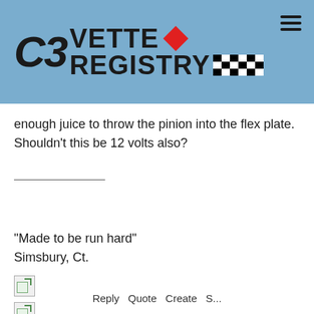[Figure (logo): C3 Vette Registry logo on light blue header background with red diamond and checkered flag graphic]
enough juice to throw the pinion into the flex plate. Shouldn't this be 12 volts also?
"Made to be run hard"
Simsbury, Ct.
[Figure (photo): Broken/missing image placeholder (first)]
[Figure (photo): Broken/missing image placeholder (second)]
Reply  Quote  Create  S...